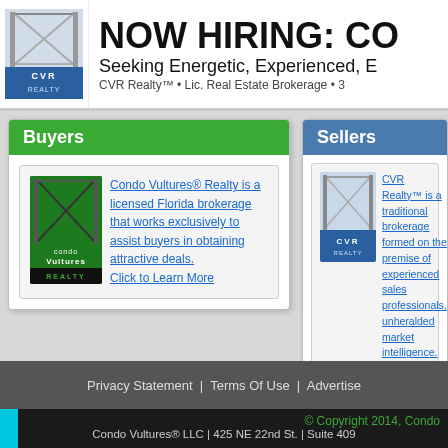NOW HIRING: CO
Seeking Energetic, Experienced, E
CVR Realty™ • Lic. Real Estate Brokerage • 3
Buyers
[Figure (logo): Condo Vultures Realty logo - black and green with bridge image]
Condo Vultures® Realty is a licensed Florida brokerage that works exclusively to assist buyers in obtaining attractive deals. Click to Learn More
Sellers
[Figure (logo): CVR Realty logo - blue and white]
CVR Realty™ is a traditional brokerage formed on the premise of experienced sales professionals, unheralded market intelligence. Click to Learn More
Privacy Statement | Terms Of Use | Advertise
© Copyright 2014, Condo
Condo Vultures® LLC | 425 NE 22nd St. | Suite 409